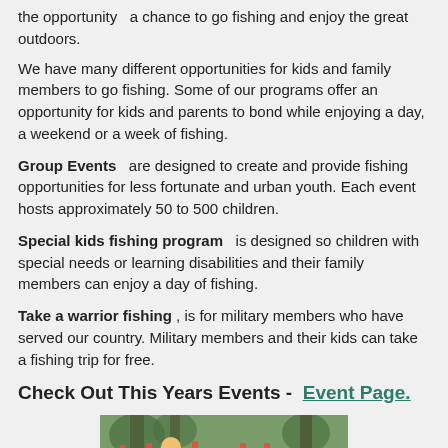the opportunity  a chance to go fishing and enjoy the great outdoors.
We have many different opportunities for kids and family members to go fishing. Some of our programs offer an opportunity for kids and parents to bond while enjoying a day, a weekend or a week of fishing.
Group Events  are designed to create and provide fishing opportunities for less fortunate and urban youth. Each event hosts approximately 50 to 500 children.
Special kids fishing program  is designed so children with special needs or learning disabilities and their family members can enjoy a day of fishing.
Take a warrior fishing , is for military members who have served our country. Military members and their kids can take a fishing trip for free.
Check Out This Years Events -  Event Page.
[Figure (photo): Group of children outdoors holding fishing rods, some wearing life jackets and hats, standing among trees.]